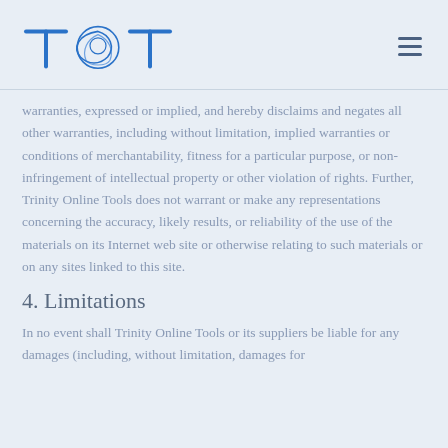TOT logo and navigation
warranties, expressed or implied, and hereby disclaims and negates all other warranties, including without limitation, implied warranties or conditions of merchantability, fitness for a particular purpose, or non-infringement of intellectual property or other violation of rights. Further, Trinity Online Tools does not warrant or make any representations concerning the accuracy, likely results, or reliability of the use of the materials on its Internet web site or otherwise relating to such materials or on any sites linked to this site.
4. Limitations
In no event shall Trinity Online Tools or its suppliers be liable for any damages (including, without limitation, damages for